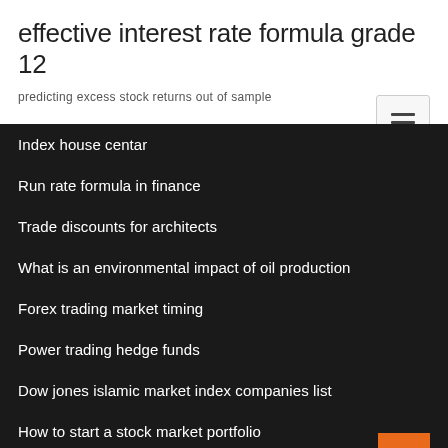effective interest rate formula grade 12
predicting excess stock returns out of sample
Index house centar
Run rate formula in finance
Trade discounts for architects
What is an environmental impact of oil production
Forex trading market timing
Power trading hedge funds
Dow jones islamic market index companies list
How to start a stock market portfolio
Health care organizational charts